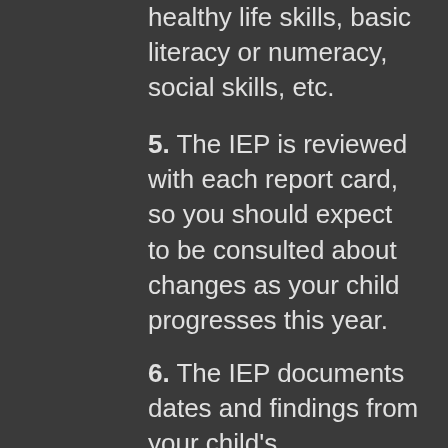healthy life skills, basic literacy or numeracy, social skills, etc.
5. The IEP is reviewed with each report card, so you should expect to be consulted about changes as your child progresses this year.
6. The IEP documents dates and findings from your child's assessments, and lists their strengths and learning needs. It states which subjects it applies to, and where and when in the day (or year) it applies.
7. A final note – last year's IEP is out of date, so quickly re-